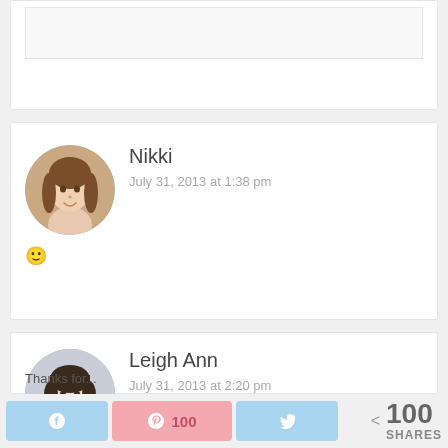[Figure (screenshot): Top partial comment card stub, showing a light grey input/text area box inside a white card]
[Figure (photo): Circular avatar photo of Nikki, a young woman with long brown hair]
Nikki
July 31, 2013 at 1:38 pm
🙂
[Figure (photo): Circular avatar photo of Leigh Ann, a woman with short dark hair]
Leigh Ann
July 31, 2013 at 2:20 pm
Thanks for...
f  [Pinterest icon] 100  [Twitter icon]  < 100 SHARES